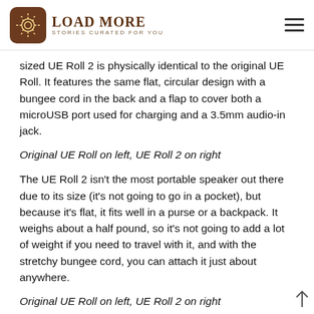LOAD MORE — STORIES CURATED FOR YOU
sized UE Roll 2 is physically identical to the original UE Roll. It features the same flat, circular design with a bungee cord in the back and a flap to cover both a microUSB port used for charging and a 3.5mm audio-in jack.
Original UE Roll on left, UE Roll 2 on right
The UE Roll 2 isn't the most portable speaker out there due to its size (it's not going to go in a pocket), but because it's flat, it fits well in a purse or a backpack. It weighs about a half pound, so it's not going to add a lot of weight if you need to travel with it, and with the stretchy bungee cord, you can attach it just about anywhere.
Original UE Roll on left, UE Roll 2 on right
The UE Roll 2, like the original UE Roll, comes in a